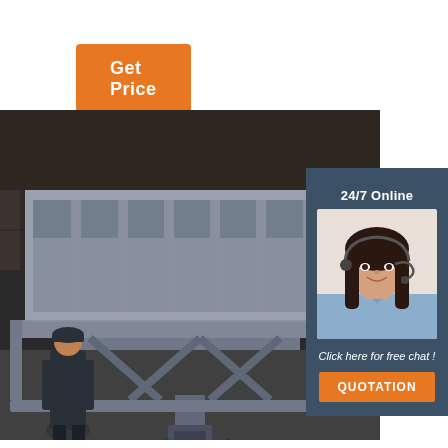Get Price
[Figure (photo): Industrial lift table with a large grey metal enclosure/cage structure mounted on scissor lift mechanism, inside a factory/warehouse. A worker in dark clothing stands beside the equipment.]
24/7 Online
[Figure (photo): Customer service agent — a young woman with dark hair wearing a headset, smiling, in a business casual blue shirt.]
Click here for free chat !
QUOTATION